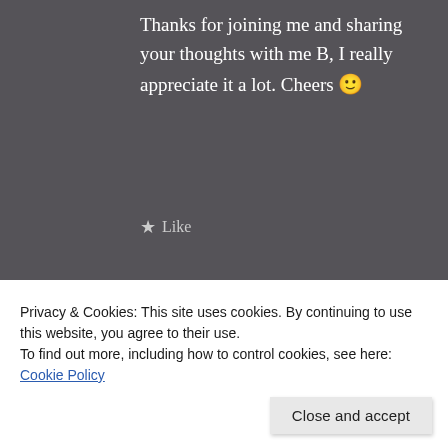Thanks for joining me and sharing your thoughts with me B, I really appreciate it a lot. Cheers 🙂
★ Like
[Figure (photo): Profile photo of Shanaya Shukla — woman with dark hair, looking down]
Shanaya Shukla
January 23, 2020   Reply
Privacy & Cookies: This site uses cookies. By continuing to use this website, you agree to their use.
To find out more, including how to control cookies, see here: Cookie Policy
Close and accept